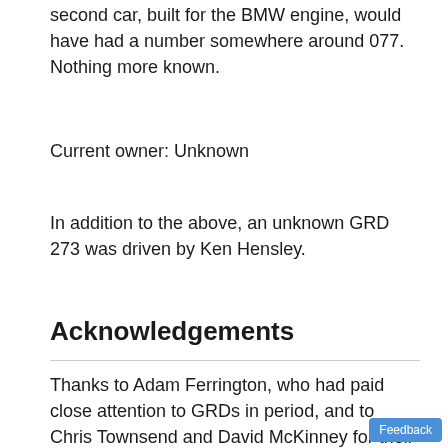second car, built for the BMW engine, would have had a number somewhere around 077. Nothing more known.
Current owner: Unknown
In addition to the above, an unknown GRD 273 was driven by Ken Hensley.
Acknowledgements
Thanks to Adam Ferrington, who had paid close attention to GRDs in period, and to Chris Townsend and David McKinney for their work on the broader subject of GRDs. Thanks also for contributions from Bryan Miller, Philippe Demeyer, Alan Brown, Steve Bay, Tony Nicholson, Dan Rear, Michael Oliver and Richard Page, from Ekkehard Krause, who had also explored this subject, from owners Doug Thomson, Johnny Dimsdale and Phil Creighton, from Robert Morris's son Ian, and from Tim Perry. Thanks also to Enrico Snoggiari for his